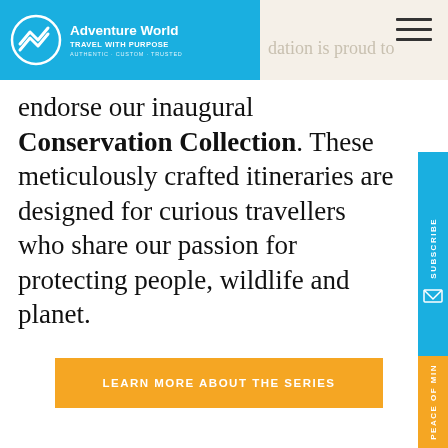Adventure World - TRAVEL WITH PURPOSE - AUTHENTIC · CUSTOM · TRUSTED
dation is proud to endorse our inaugural Conservation Collection. These meticulously crafted itineraries are designed for curious travellers who share our passion for protecting people, wildlife and planet.
LEARN MORE ABOUT THE SERIES
WHAT YOU WILL DO
Stay in unique, hand-picked accommodations that are evocative of your destination
Enjoy jeep and boat safaris in some of Sri Lanka's